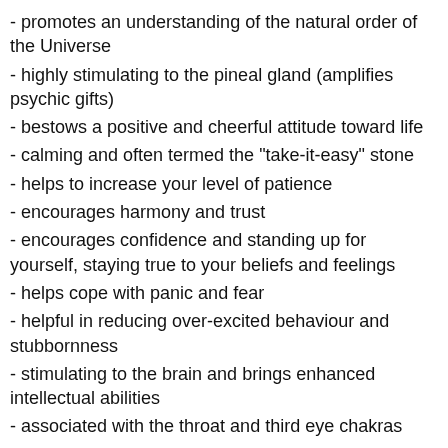- promotes an understanding of the natural order of the Universe
- highly stimulating to the pineal gland (amplifies psychic gifts)
- bestows a positive and cheerful attitude toward life
- calming and often termed the "take-it-easy" stone
- helps to increase your level of patience
- encourages harmony and trust
- encourages confidence and standing up for yourself, staying true to your beliefs and feelings
- helps cope with panic and fear
- helpful in reducing over-excited behaviour and stubbornness
- stimulating to the brain and brings enhanced intellectual abilities
- associated with the throat and third eye chakras
♡ Keeping crystals with you either in your pocket, purse or